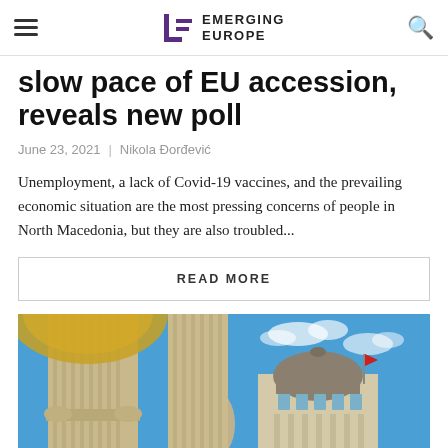EMERGING EUROPE
slow pace of EU accession, reveals new poll
June 23, 2021  |  Nikola Đorđević
Unemployment, a lack of Covid-19 vaccines, and the prevailing economic situation are the most pressing concerns of people in North Macedonia, but they are also troubled...
READ MORE
[Figure (photo): Architectural photo showing classical stone columns and statues with ornate gold-colored dome elements in the foreground, and a domed government building with a flag in the background against a blue sky with clouds. Likely Skopje, North Macedonia.]